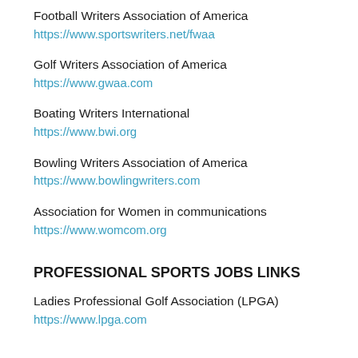Football Writers Association of America
https://www.sportswriters.net/fwaa
Golf Writers Association of America
https://www.gwaa.com
Boating Writers International
https://www.bwi.org
Bowling Writers Association of America
https://www.bowlingwriters.com
Association for Women in communications
https://www.womcom.org
PROFESSIONAL SPORTS JOBS LINKS
Ladies Professional Golf Association (LPGA)
https://www.lpga.com